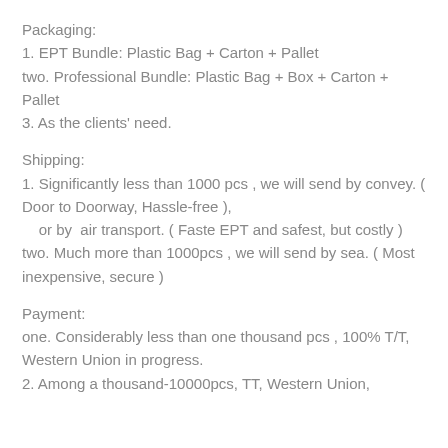Packaging:
1. EPT Bundle: Plastic Bag + Carton + Pallet
two. Professional Bundle: Plastic Bag + Box + Carton + Pallet
3. As the clients' need.
Shipping:
1. Significantly less than 1000 pcs , we will send by convey. ( Door to Doorway, Hassle-free ),
    or by  air transport. ( Faste EPT and safest, but costly )
two. Much more than 1000pcs , we will send by sea. ( Most inexpensive, secure )
Payment:
one. Considerably less than one thousand pcs , 100% T/T, Western Union in progress.
2. Among a thousand-10000pcs, TT, Western Union,